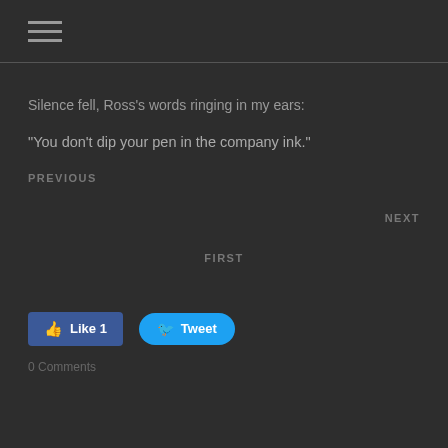≡
Silence fell, Ross's words ringing in my ears:
“You don’t dip your pen in the company ink.”
PREVIOUS
NEXT
FIRST
[Figure (screenshot): Facebook Like button showing count of 1 and Twitter Tweet button]
0 Comments